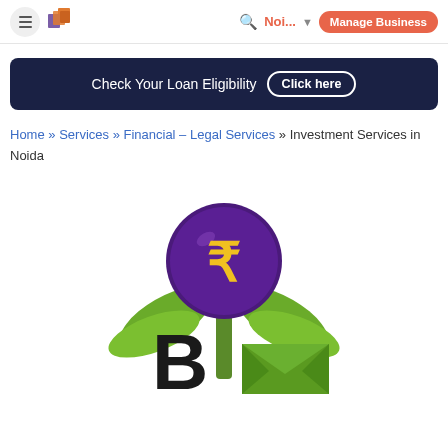≡  [logo]  🔍 Noi... ▾  Manage Business
[Figure (infographic): Dark navy banner with text 'Check Your Loan Eligibility' and a 'Click here' button]
Home » Services » Financial – Legal Services » Investment Services in Noida
[Figure (logo): Investment services logo: purple coin with Indian rupee symbol on a green plant with 'B' letter, BM logo style]